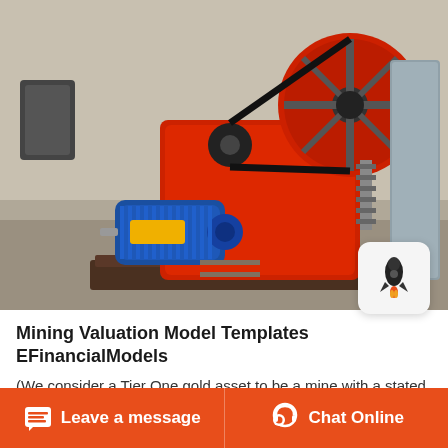[Figure (photo): Industrial jaw crusher / mining equipment machine in red color with blue electric motor, mounted on a steel frame, photographed in a factory or warehouse setting.]
Mining Valuation Model Templates EFinancialModels
(We consider a Tier One gold asset to be a mine with a stated life in excess of 10 years, annual production of at least 500,000 ounces of gold and total cash
Leave a message  Chat Online